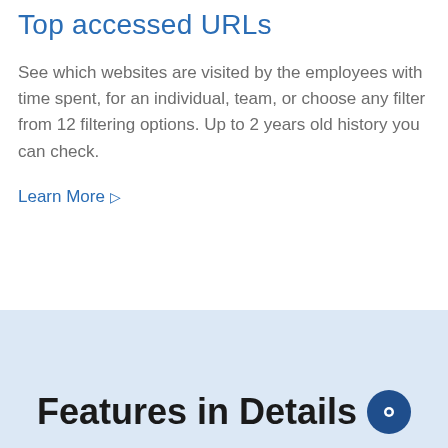Top accessed URLs
See which websites are visited by the employees with time spent, for an individual, team, or choose any filter from 12 filtering options. Up to 2 years old history you can check.
Learn More ▷
Features in Details